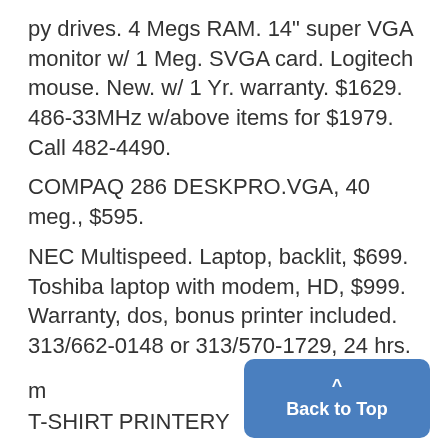py drives. 4 Megs RAM. 14" super VGA monitor w/ 1 Meg. SVGA card. Logitech mouse. New. w/ 1 Yr. warranty. $1629. 486-33MHz w/above items for $1979. Call 482-4490.
COMPAQ 286 DESKPRO.VGA, 40 meg., $595.
NEC Multispeed. Laptop, backlit, $699. Toshiba laptop with modem, HD, $999. Warranty, dos, bonus printer included. 313/662-0148 or 313/570-1729, 24 hrs.
m
T-SHIRT PRINTERY